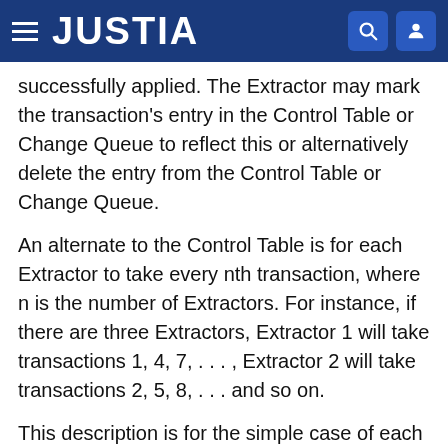JUSTIA
successfully applied. The Extractor may mark the transaction's entry in the Control Table or Change Queue to reflect this or alternatively delete the entry from the Control Table or Change Queue.
An alternate to the Control Table is for each Extractor to take every nth transaction, where n is the number of Extractors. For instance, if there are three Extractors, Extractor 1 will take transactions 1, 4, 7, . . . , Extractor 2 will take transactions 2, 5, 8, . . . and so on.
This description is for the simple case of each Extractor handling just one transaction at a time. In many implementations, each Extractor may be handling multiple overlapping transactions at a time. The techniques above are also applicable to this case. Certain problems related to a thread handling multiple simultaneous transactions are discussed later